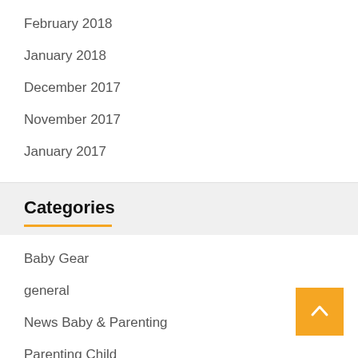February 2018
January 2018
December 2017
November 2017
January 2017
Categories
Baby Gear
general
News Baby & Parenting
Parenting Child
Parenting Course